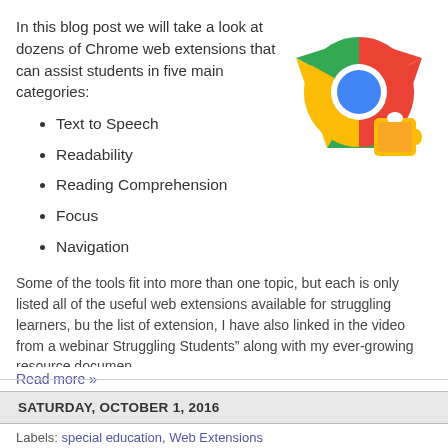In this blog post we will take a look at dozens of Chrome web extensions that can assist students in five main categories:
[Figure (logo): Google Chrome logo with a puzzle piece overlay icon, showing the circular Chrome icon (blue center, green/red/yellow segments) with a yellow puzzle piece in the lower right]
Text to Speech
Readability
Reading Comprehension
Focus
Navigation
Some of the tools fit into more than one topic, but each is only listed all of the useful web extensions available for struggling learners, bu the list of extension, I have also linked in the video from a webinar Struggling Students" along with my ever-growing resource documen
Read more »
Posted by Eric at 7:44 PM   28 comments:
Labels: special education, Web Extensions
SATURDAY, OCTOBER 1, 2016